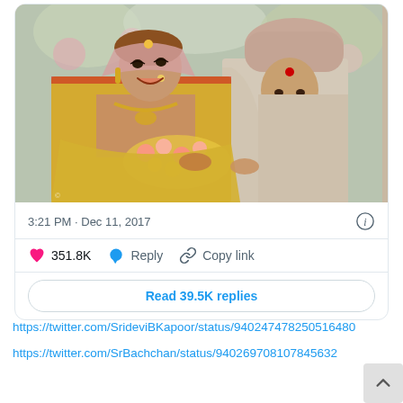[Figure (photo): Wedding photo of a bride in traditional Indian bridal attire (yellow lehenga, heavy jewelry, dupatta) and a groom in cream sherwani and pink turban, both smiling, holding hands during a ceremony with pink floral decorations in the background.]
3:21 PM · Dec 11, 2017
351.8K   Reply   Copy link
Read 39.5K replies
https://twitter.com/SrideviBKapoor/status/940247478250516480
https://twitter.com/SrBachchan/status/940269708107845632